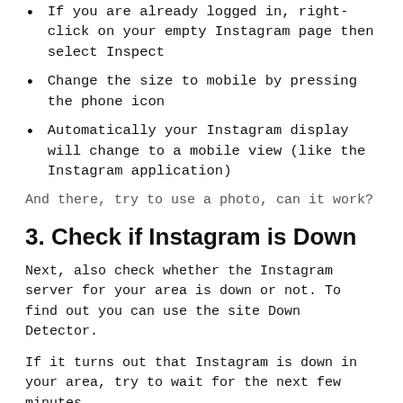If you are already logged in, right-click on your empty Instagram page then select Inspect
Change the size to mobile by pressing the phone icon
Automatically your Instagram display will change to a mobile view (like the Instagram application)
And there, try to use a photo, can it work?
3. Check if Instagram is Down
Next, also check whether the Instagram server for your area is down or not. To find out you can use the site Down Detector.
If it turns out that Instagram is down in your area, try to wait for the next few minutes